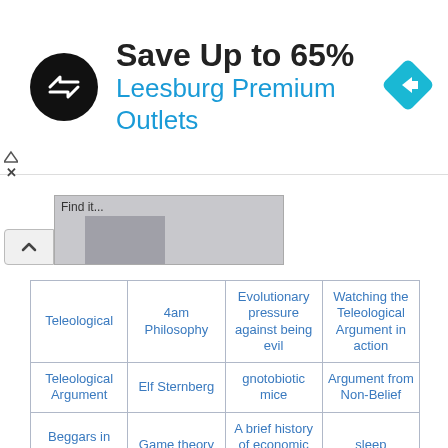[Figure (infographic): Advertisement banner: circular black logo with double-arrow symbol, text 'Save Up to 65%' in bold black, 'Leesburg Premium Outlets' in blue, and a blue diamond-shaped navigation arrow icon on the right.]
[Figure (screenshot): Collapsed UI element with a chevron/up-arrow button and a gray preview box showing 'Find it...' text and a thumbnail image.]
|  |  |  |  |
| --- | --- | --- | --- |
| Teleological | 4am Philosophy | Evolutionary pressure against being evil | Watching the Teleological Argument in action |
| Teleological Argument | Elf Sternberg | gnotobiotic mice | Argument from Non-Belief |
| Beggars in Spain | Game theory | A brief history of economic thought | sleep |
| The Night is not young | THE IRON NODER CHALLENGE 4: | Dormitive virtue | The Selfish Gene |